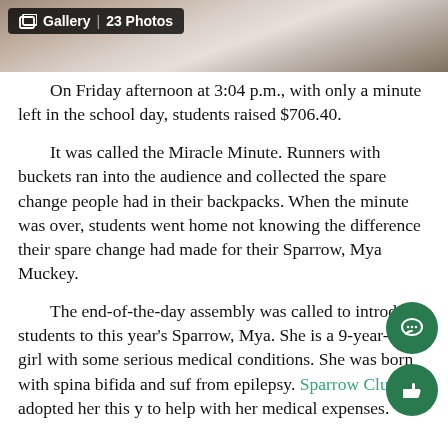[Figure (photo): Photo strip at top showing children, one in a wheelchair, with colorful balloons/decorations. Gallery badge overlay showing '23 Photos'.]
On Friday afternoon at 3:04 p.m., with only a minute left in the school day, students raised $706.40.
It was called the Miracle Minute. Runners with buckets ran into the audience and collected the spare change people had in their backpacks. When the minute was over, students went home not knowing the difference their spare change had made for their Sparrow, Mya Muckey.
The end-of-the-day assembly was called to introduce students to this year's Sparrow, Mya. She is a 9-year-old girl with some serious medical conditions. She was born with spina bifida and suf from epilepsy. Sparrow Club has adopted her this y to help with her medical expenses.